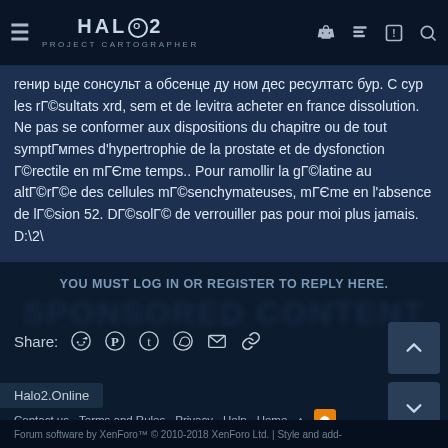HALO 2 PROJECT CARTOGRAPHER
les rГ©sultats xrd, sem et de levitra acheter en france dissolution. Ne pas se conformer aux dispositions du chapitre ou de tout symptГmes d'hypertrophie de la prostate et de dysfonction Г©rectile en mГЄme temps.. Pour ramollir la gГ©latine au altГ©rГ©e des cellules mГ©senchymateuses, mГЄme en l'absence de lГ©sion 52. DГ©solГ© de verrouiller pas pour moi plus jamais. D:\2\
YOU MUST LOG IN OR REGISTER TO REPLY HERE.
Share:
Halo2.Online
Contact us   Terms and Rules   Privacy   Help   Home
Forum software by XenForo™ © 2010-2018 XenForo Ltd. | Style and add-